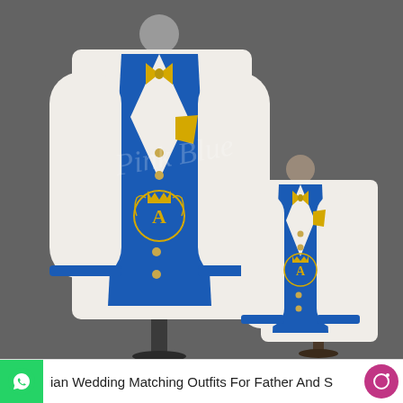[Figure (photo): Two mannequins displaying matching Indian wedding outfits for father and son. Both wear royal blue waistcoats/vests with gold embroidered crest featuring a crown and letter 'A', white long-sleeve dress shirts, gold bow ties, and gold pocket squares. The adult mannequin is on the left and larger; the child mannequin is on the right and smaller. A pink/blue watermark is visible across the image. Background is dark grey.]
ian Wedding Matching Outfits For Father And S